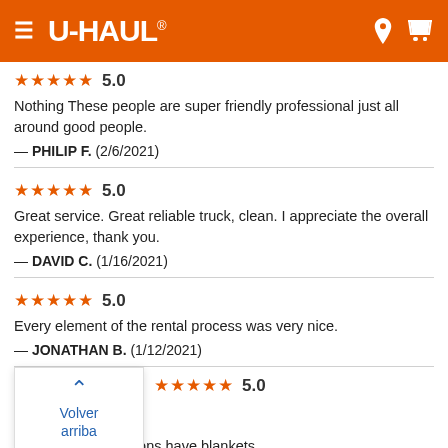U-HAUL
★★★★★ 5.0
Nothing These people are super friendly professional just all around good people.
— PHILIP F.  (2/6/2021)
★★★★★ 5.0
Great service. Great reliable truck, clean. I appreciate the overall experience, thank you.
— DAVID C.  (1/16/2021)
★★★★★ 5.0
Every element of the rental process was very nice.
— JONATHAN B.  (1/12/2021)
Volver arriba
★★★★★ 5.0
make sure all locations have blankets